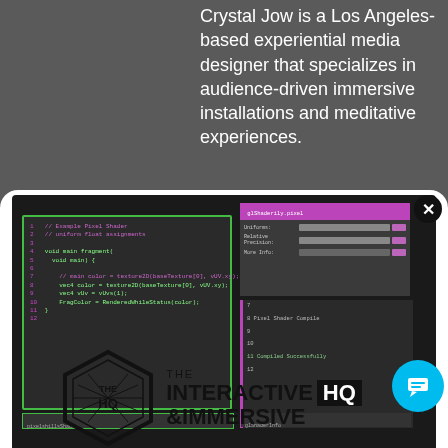Crystal Jow is a Los Angeles-based experiential media designer that specializes in audience-driven immersive installations and meditative experiences.
[Figure (screenshot): Screenshot of a shader code editor (dark theme) with green border on left panel showing GLSL/pixel shader code, and a property panel on the right with pink/purple header, plus a console output panel showing 'Pixel Shader Compile' and 'Compiled Successfully' messages.]
[Figure (logo): The Interactive & Immersive HQ logo — hexagonal badge on the left with 'THE HQ' text inside, and 'THE INTERACTIVE & IMMERSIVE HQ' text on the right with HQ in a black box.]